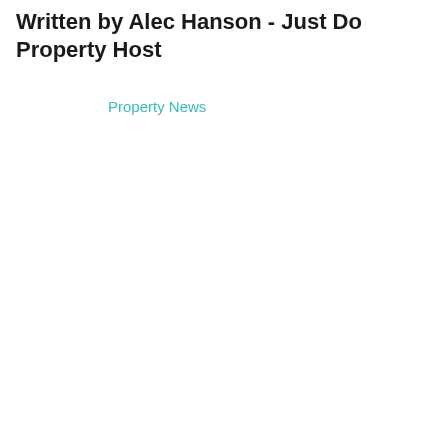Written by Alec Hanson - Just Do Property Host
Property News